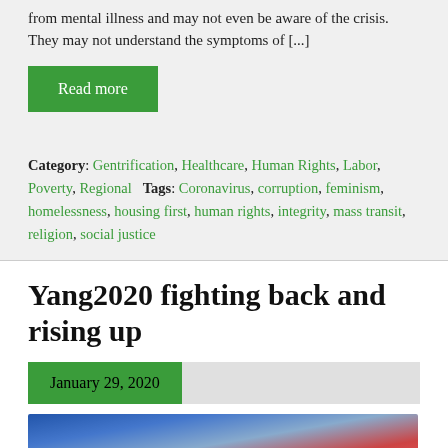from mental illness and may not even be aware of the crisis. They may not understand the symptoms of [...]
Read more
Category: Gentrification, Healthcare, Human Rights, Labor, Poverty, Regional   Tags: Coronavirus, corruption, feminism, homelessness, housing first, human rights, integrity, mass transit, religion, social justice
Yang2020 fighting back and rising up
January 29, 2020
[Figure (photo): Photo strip showing a person at what appears to be a political event or debate, with colorful background elements including blue and red colors]